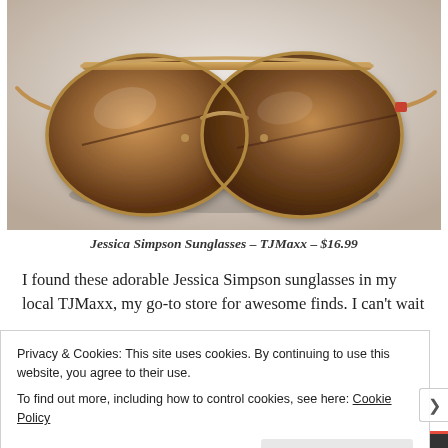[Figure (photo): Close-up photo of aviator-style sunglasses with brown gradient lenses and gold/rose-gold metal frames, placed on a white surface.]
Jessica Simpson Sunglasses – TJMaxx – $16.99
I found these adorable Jessica Simpson sunglasses in my local TJMaxx, my go-to store for awesome finds. I can't wait
Privacy & Cookies: This site uses cookies. By continuing to use this website, you agree to their use.
To find out more, including how to control cookies, see here: Cookie Policy